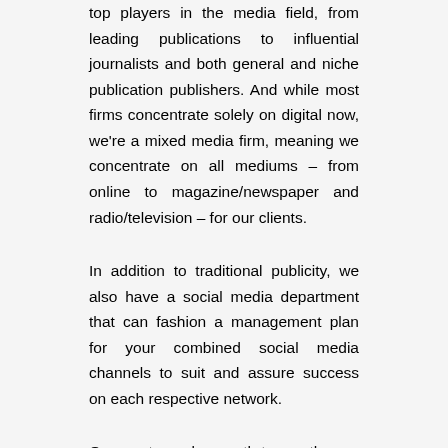top players in the media field, from leading publications to influential journalists and both general and niche publication publishers. And while most firms concentrate solely on digital now, we're a mixed media firm, meaning we concentrate on all mediums – from online to magazine/newspaper and radio/television – for our clients.
In addition to traditional publicity, we also have a social media department that can fashion a management plan for your combined social media channels to suit and assure success on each respective network.
Our most popular month-to-month